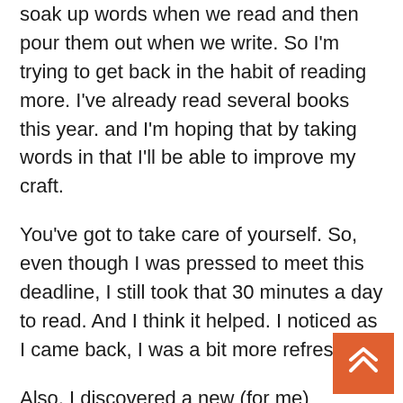soak up words when we read and then pour them out when we write. So I'm trying to get back in the habit of reading more. I've already read several books this year. and I'm hoping that by taking words in that I'll be able to improve my craft.
You've got to take care of yourself. So, even though I was pressed to meet this deadline, I still took that 30 minutes a day to read. And I think it helped. I noticed as I came back, I was a bit more refreshed.
Also, I discovered a new (for me) mystery team and as I'm reading, I'm finding stuff I love about their style. It's helped me understand some of James' ...